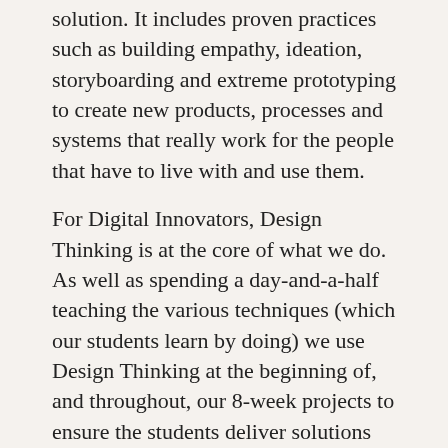solution. It includes proven practices such as building empathy, ideation, storyboarding and extreme prototyping to create new products, processes and systems that really work for the people that have to live with and use them.
For Digital Innovators, Design Thinking is at the core of what we do. As well as spending a day-and-a-half teaching the various techniques (which our students learn by doing) we use Design Thinking at the beginning of, and throughout, our 8-week projects to ensure the students deliver solutions are really what our employers want.
6. Ethics
The ethical aspects on the use of digital